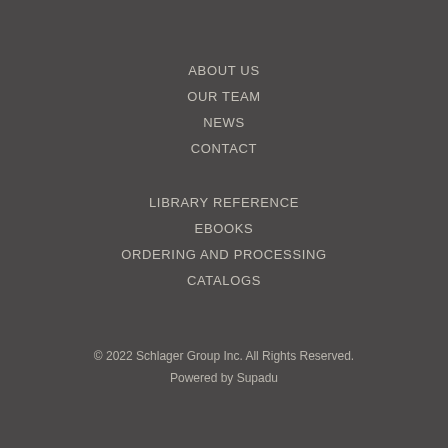ABOUT US
OUR TEAM
NEWS
CONTACT
LIBRARY REFERENCE
EBOOKS
ORDERING AND PROCESSING
CATALOGS
© 2022 Schlager Group Inc. All Rights Reserved.
Powered by Supadu